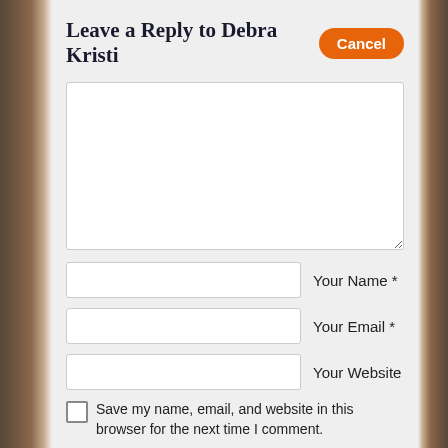Leave a Reply to Debra Kristi
Cancel
[Figure (other): Large empty textarea for comment input]
Your Name *
Your Email *
Your Website
Save my name, email, and website in this browser for the next time I comment.